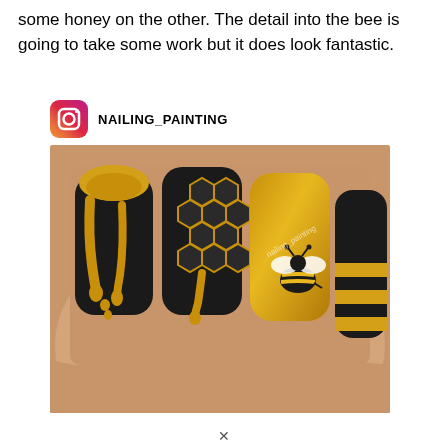some honey on the other. The detail into the bee is going to take some work but it does look fantastic.
[Figure (photo): Instagram post from NAILING_PAINTING showing bee-themed nail art: four nails painted black with gold dripping honey design and honeycomb pattern, one nail in gold with a black bee, and one nail with black and gold stripes.]
X